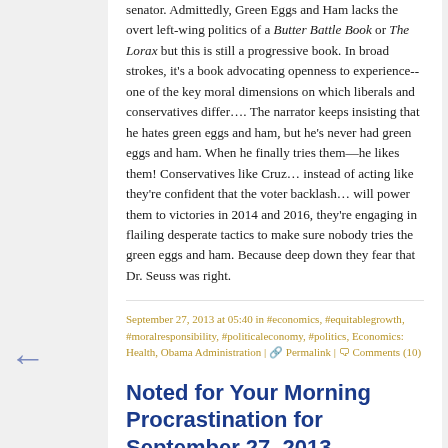senator. Admittedly, Green Eggs and Ham lacks the overt left-wing politics of a Butter Battle Book or The Lorax but this is still a progressive book. In broad strokes, it's a book advocating openness to experience--one of the key moral dimensions on which liberals and conservatives differ…. The narrator keeps insisting that he hates green eggs and ham, but he's never had green eggs and ham. When he finally tries them—he likes them! Conservatives like Cruz… instead of acting like they're confident that the voter backlash… will power them to victories in 2014 and 2016, they're engaging in flailing desperate tactics to make sure nobody tries the green eggs and ham. Because deep down they fear that Dr. Seuss was right.
September 27, 2013 at 05:40 in #economics, #equitablegrowth, #moralresponsibility, #politicaleconomy, #politics, Economics: Health, Obama Administration | Permalink | Comments (10)
Noted for Your Morning Procrastination for September 27, 2013
1. "Whenever the legislature attempts to regulate… its counsellors are